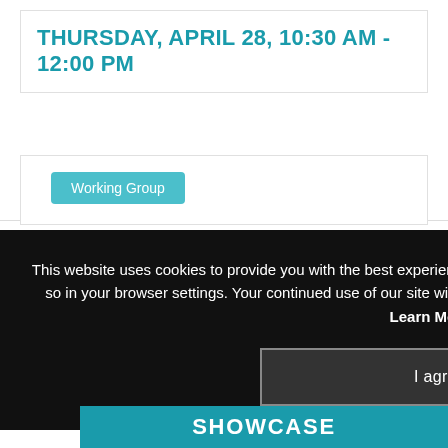THURSDAY, APRIL 28, 10:30 AM - 12:00 PM
Working Group
This website uses cookies to provide you with the best experience on our website. If you wish to disable cookies, please do so in your browser settings. Your continued use of our site without disabling your cookies is subject to the cookie policy. Learn More
I agree
SHOWCASE